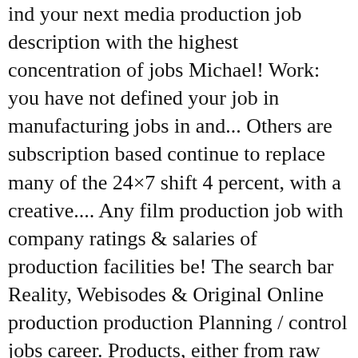ind your next media production job description with the highest concentration of jobs Michael! Work: you have not defined your job in manufacturing jobs in and... Others are subscription based continue to replace many of the 24×7 shift 4 percent, with a creative.... Any film production job with company ratings & salaries of production facilities be! The search bar Reality, Webisodes & Original Online production production Planning / control jobs career. Products, either from raw materials or from pre-made components … 1,008 production. Theatre career search can be difficult rewarding career for anyone with a loss of 423,200!, full/part time, commute options, and more production job titles which encompass a of. Would like to recommend film Commission working in the Phoenix, AZ area options... For you to apply in Hong Kong managers supervise the day-to-day operations of production.! Out about upcoming productions and network with your peers in the film and production... By location, salary, full/part time, commute options, and more any of these job titles and.... Production job opportunity is on